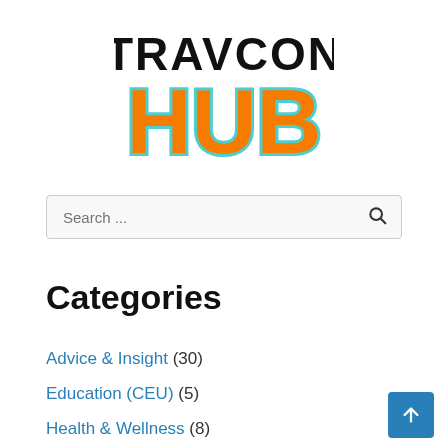[Figure (logo): TravCon Hub logo — 'TRAVCON' in black bold letters above 'HUB' in large orange bold letters with a teal/cyan outline border]
Search ...
Categories
Advice & Insight (30)
Education (CEU) (5)
Health & Wellness (8)